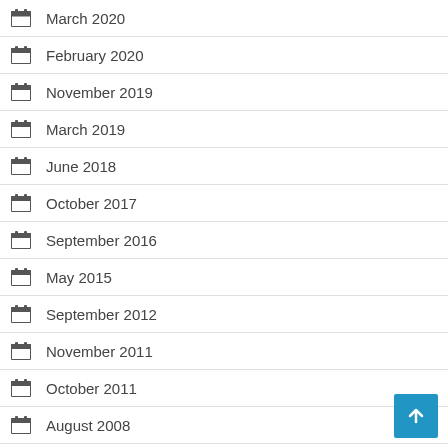March 2020
February 2020
November 2019
March 2019
June 2018
October 2017
September 2016
May 2015
September 2012
November 2011
October 2011
August 2008